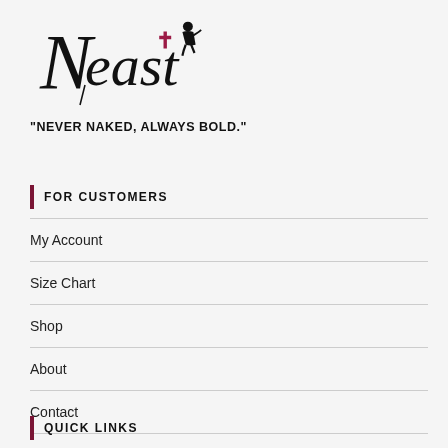[Figure (logo): Neast brand logo with script font lettering and a seated figure silhouette in dark pink/burgundy]
“NEVER NAKED, ALWAYS BOLD.”
FOR CUSTOMERS
My Account
Size Chart
Shop
About
Contact
QUICK LINKS